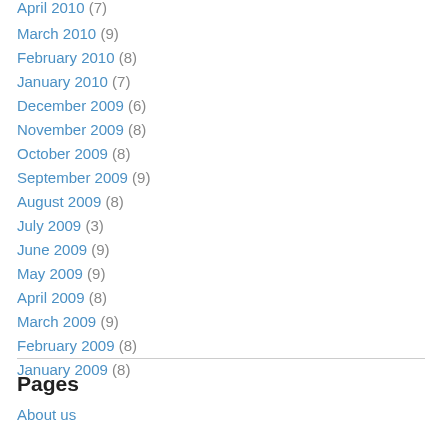April 2010 (7)
March 2010 (9)
February 2010 (8)
January 2010 (7)
December 2009 (6)
November 2009 (8)
October 2009 (8)
September 2009 (9)
August 2009 (8)
July 2009 (3)
June 2009 (9)
May 2009 (9)
April 2009 (8)
March 2009 (9)
February 2009 (8)
January 2009 (8)
Pages
About us